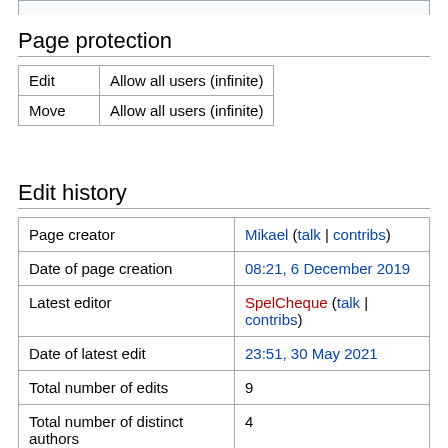Page protection
| Edit | Allow all users (infinite) |
| Move | Allow all users (infinite) |
Edit history
| Page creator | Mikael (talk | contribs) |
| Date of page creation | 08:21, 6 December 2019 |
| Latest editor | SpelCheque (talk | contribs) |
| Date of latest edit | 23:51, 30 May 2021 |
| Total number of edits | 9 |
| Total number of distinct authors | 4 |
| Recent number of edits (within past 90 days) | 0 |